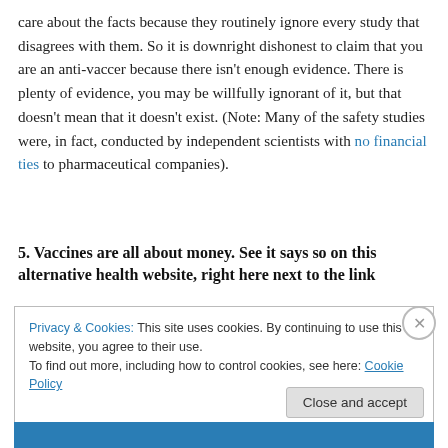care about the facts because they routinely ignore every study that disagrees with them. So it is downright dishonest to claim that you are an anti-vaccer because there isn't enough evidence. There is plenty of evidence, you may be willfully ignorant of it, but that doesn't mean that it doesn't exist. (Note: Many of the safety studies were, in fact, conducted by independent scientists with no financial ties to pharmaceutical companies).
5. Vaccines are all about money. See it says so on this alternative health website, right here next to the link
[Figure (screenshot): Cookie consent banner overlay showing: 'Privacy & Cookies: This site uses cookies. By continuing to use this website, you agree to their use. To find out more, including how to control cookies, see here: Cookie Policy' with a close X button and a 'Close and accept' button. A blue bar is visible at the bottom.]